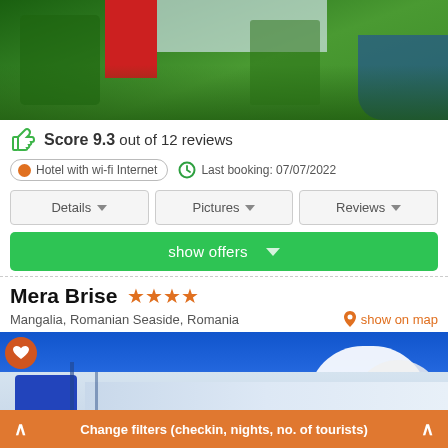[Figure (photo): Hotel exterior photo showing red block facade with green trees and blue accent, aerial/side view]
Score 9.3 out of 12 reviews
Hotel with wi-fi Internet   Last booking: 07/07/2022
Details   Pictures   Reviews
show offers
Mera Brise ★★★★
Mangalia, Romanian Seaside, Romania
show on map
[Figure (photo): Hotel Mera Brise exterior photo showing white/gray modern building against blue sky with clouds, blue hotel sign visible]
Change filters (checkin, nights, no. of tourists)